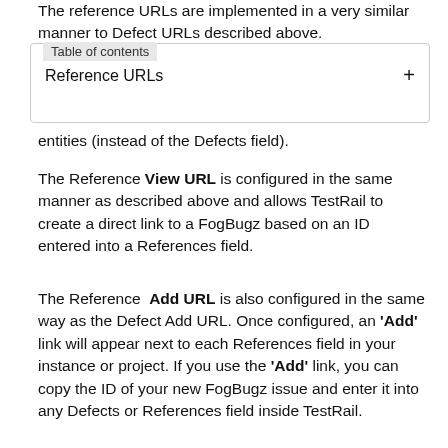The reference URLs are implemented in a very similar manner to Defect URLs described above.
Table of contents
Reference URLs +
entities (instead of the Defects field).
The Reference View URL is configured in the same manner as described above and allows TestRail to create a direct link to a FogBugz based on an ID entered into a References field.
The Reference Add URL is also configured in the same way as the Defect Add URL. Once configured, an 'Add' link will appear next to each References field in your instance or project. If you use the 'Add' link, you can copy the ID of your new FogBugz issue and enter it into any Defects or References field inside TestRail.